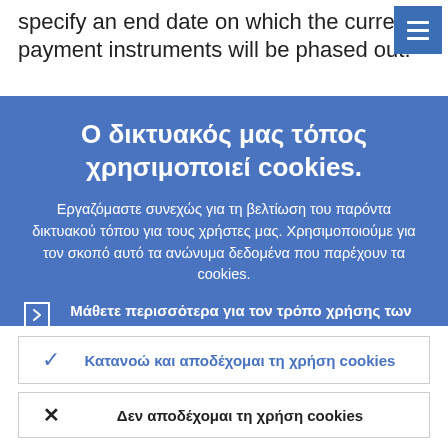specify an end date on which the current payment instruments will be phased out.
[Figure (screenshot): Blue cookie consent overlay panel on a government website]
Ο δικτυακός μας τόπος χρησιμοποιεί cookies.
Εργαζόμαστε συνεχώς για τη βελτίωση του παρόντα δικτυακού τόπου για τους χρήστες μας. Χρησιμοποιούμε για τον σκοπό αυτό τα ανώνυμα δεδομένα που παρέχουν τα cookies.
Μάθετε περισσότερα για τον τρόπο χρήσης των cookies.
Κατανοώ και αποδέχομαι τη χρήση cookies
Δεν αποδέχομαι τη χρήση cookies